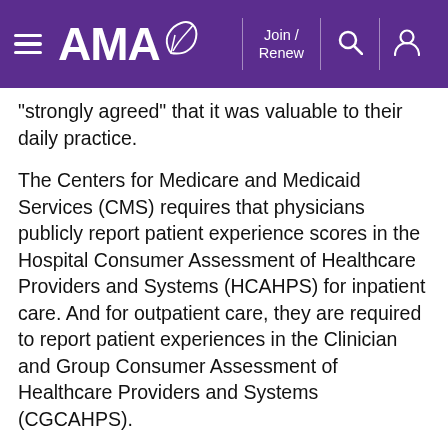AMA — Join / Renew
'strongly agreed' that it was valuable to their daily practice.
The Centers for Medicare and Medicaid Services (CMS) requires that physicians publicly report patient experience scores in the Hospital Consumer Assessment of Healthcare Providers and Systems (HCAHPS) for inpatient care. And for outpatient care, they are required to report patient experiences in the Clinician and Group Consumer Assessment of Healthcare Providers and Systems (CGCAHPS).
Because physicians want patients to be satisfied with their care, and because HCAHPS and CGCAHPS scores are required for payment